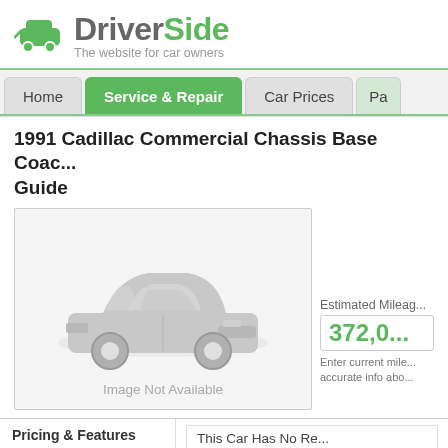[Figure (logo): DriverSide logo with green car icon and tagline 'The website for car owners']
Home | Service & Repair | Car Prices | Pa...
1991 Cadillac Commercial Chassis Base Coach Guide
[Figure (illustration): Gray placeholder car illustration with caption 'Image Not Available']
Estimated Mileage
372,0...
Enter current mile... accurate info abo...
Pricing & Features
Vehicle Overview
This Car Has No Re...
Vehicle Overview